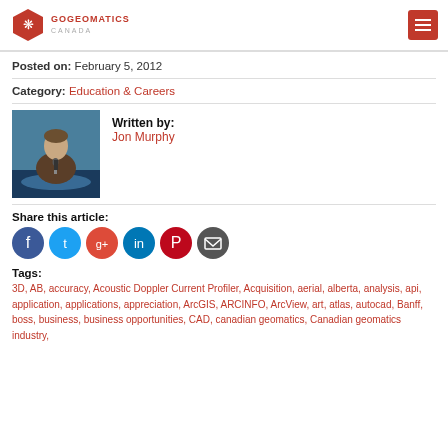GOGEOMATICS CANADA
Posted on: February 5, 2012
Category: Education & Careers
[Figure (photo): Photo of Jon Murphy speaking at a podium with a microphone]
Written by: Jon Murphy
Share this article:
[Figure (infographic): Social share icons: Facebook, Twitter, Google+, LinkedIn, Pinterest, Email]
Tags:
3D, AB, accuracy, Acoustic Doppler Current Profiler, Acquisition, aerial, alberta, analysis, api, application, applications, appreciation, ArcGIS, ARCINFO, ArcView, art, atlas, autocad, Banff, boss, business, business opportunities, CAD, canadian geomatics, Canadian geomatics industry,